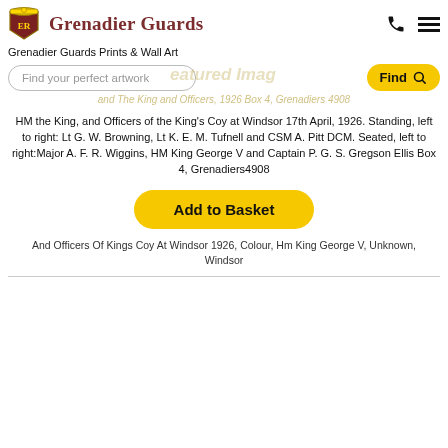Grenadier Guards
Grenadier Guards Prints & Wall Art
Find your perfect artwork
Featured Imag... and The King and Officers, 1926 Box 4, Grenadiers 4908
HM the King, and Officers of the King's Coy at Windsor 17th April, 1926. Standing, left to right: Lt G. W. Browning, Lt K. E. M. Tufnell and CSM A. Pitt DCM. Seated, left to right:Major A. F. R. Wiggins, HM King George V and Captain P. G. S. Gregson Ellis Box 4, Grenadiers4908
Add to Basket
And Officers Of Kings Coy At Windsor 1926, Colour, Hm King George V, Unknown, Windsor